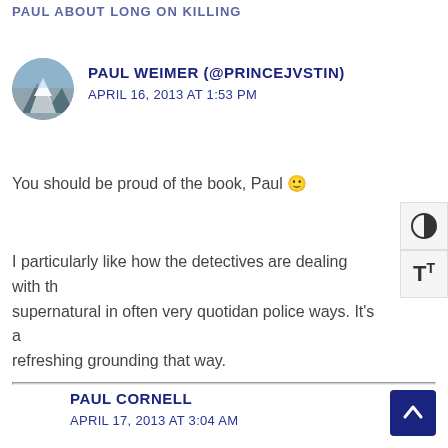PAUL ABOUT LONG ON KILLING
PAUL WEIMER (@PRINCEJVSTIN)
APRIL 16, 2013 AT 1:53 PM
You should be proud of the book, Paul 🙂
I particularly like how the detectives are dealing with the supernatural in often very quotidan police ways. It's a refreshing grounding that way.
PAUL CORNELL
APRIL 17, 2013 AT 3:04 AM